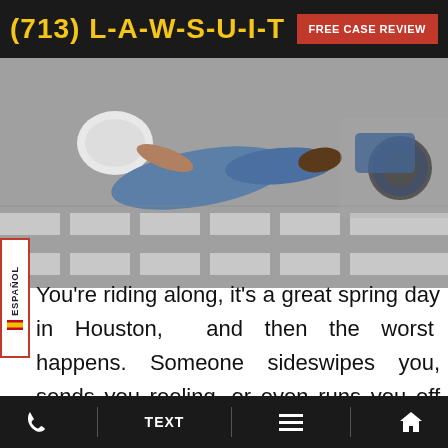(713) L-A-W-S-U-I-T  FREE CASE REVIEW
[Figure (photo): Motorcycle accident scene showing a rider fallen on the road, wearing a helmet, lying on a crosswalk with a motorcycle visible in the background.]
ESPAÑOL
You're riding along, it's a great spring day in Houston, and then the worst happens. Someone sideswipes you, sends you reeling, or even runs you off the road. You have
Phone | TEXT | Menu | Home